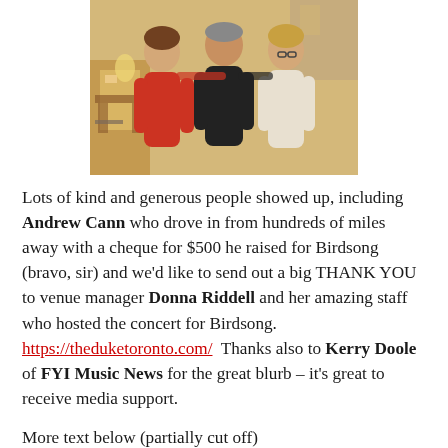[Figure (photo): Three people posing together at what appears to be a restaurant or bar venue. A person in red on the left, a person in black in the middle, and a woman in white/light top on the right. Background shows restaurant furniture and decor.]
Lots of kind and generous people showed up, including Andrew Cann who drove in from hundreds of miles away with a cheque for $500 he raised for Birdsong (bravo, sir) and we'd like to send out a big THANK YOU to venue manager Donna Riddell and her amazing staff who hosted the concert for Birdsong. https://theduketoronto.com/  Thanks also to Kerry Doole of FYI Music News for the great blurb – it's great to receive media support.
More text below (partially visible)